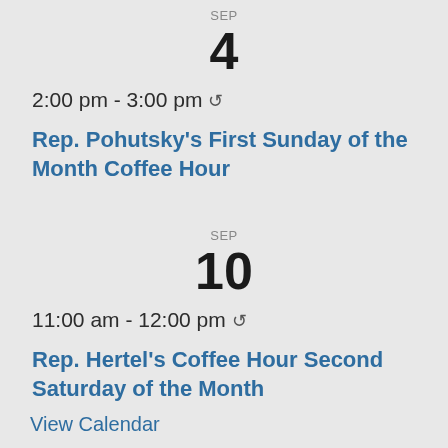SEP
4
2:00 pm - 3:00 pm ↻
Rep. Pohutsky's First Sunday of the Month Coffee Hour
SEP
10
11:00 am - 12:00 pm ↻
Rep. Hertel's Coffee Hour Second Saturday of the Month
View Calendar